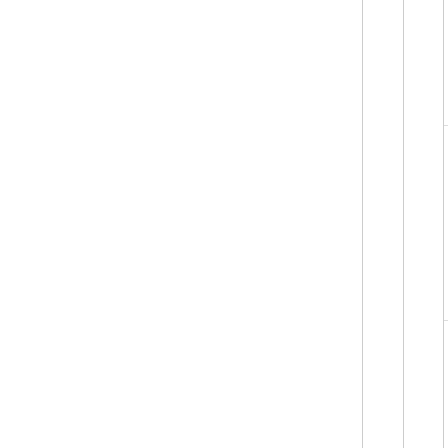and "give all they have to the poor". Je (metaphorically) self-emasculate for the sa
Hebrews 11:35b others were tortured, no they might obtain a better resurrection:
Reply
B says:
2015-12-02 at 12:56
>Restoration Anglicanism had pretty good Christianity.
"Pauline Christianity" being Jim's version o trying to say. Because what he actually celibates were the ideal.
Reply
Richard Nixon's Ghost says:
2015-12-02 at 17:17
>Restoration Anglicanism had pretty good Christianity.
Nope. It had less continuity than Catholicism religions – it's rather difficult to restore a h move farther and farther away.
Paul says that celibacy is superior to cha